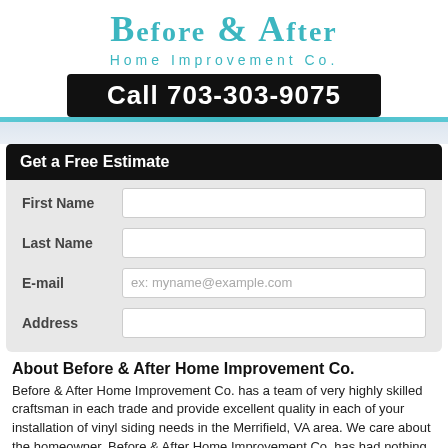Before & After Home Improvement Co.
Call 703-303-9075
Get a Free Estimate
First Name
Last Name
E-mail
Address
About Before & After Home Improvement Co.
Before & After Home Improvement Co. has a team of very highly skilled craftsman in each trade and provide excellent quality in each of your installation of vinyl siding needs in the Merrifield, VA area. We care about the homeowner. Before & After Home Improvement Co. has had nothing but positive reviews on all of our installation of vinyl siding services in the Merrifield, VA area. We complete all jobs in a quick amount of time, and